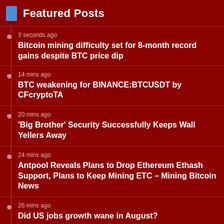Featured Posts
3 seconds ago
Bitcoin mining difficulty set for 8-month record gains despite BTC price dip
14 mins ago
BTC weakening for BINANCE:BTCUSDT by CFcryptoTA
20 mins ago
'Big Brother' Security Successfully Keeps Wall Yellers Away
24 mins ago
Antpool Reveals Plans to Drop Ethereum Ethash Support, Plans to Keep Mining ETC – Mining Bitcoin News
26 mins ago
Did US jobs growth wane in August?
28 mins ago
'It’s not done until it’s done': José Abreu stresses belief as the Chicago White Sox attempt a playoff push
40 mins ago
Mets retire No. 24 for Willie Mays during team's first Old…